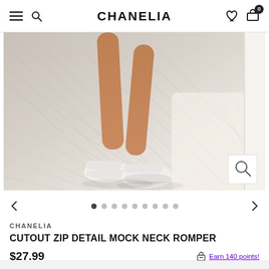CHANELIA
[Figure (photo): Product photo showing legs of a model wearing white sneakers on a wooden deck floor, photographed from below. The image has a light, airy aesthetic with wood plank flooring and natural light.]
CHANELIA
CUTOUT ZIP DETAIL MOCK NECK ROMPER
$27.99  Earn 140 points!